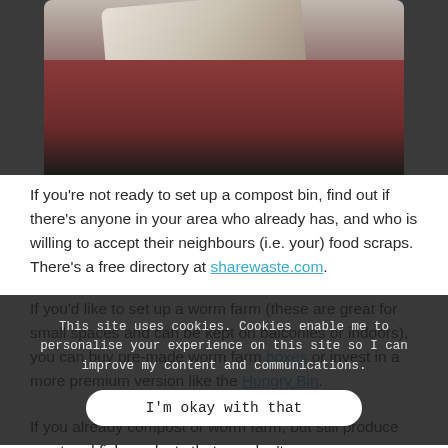[Figure (photo): A person holding a container, wearing a dark red/maroon top, photographed from chest up against a dark background.]
If you're not ready to set up a compost bin, find out if there's anyone in your area who already has, and who is willing to accept their neighbours (i.e. your) food scraps. There's a free directory at sharewaste.com.
If you'd like to set up a worm farm (these are great for small spaces and can be kept on balconies or indoors), you can buy pre-made worm farm boxes or invest in a more premium version like the Hungry Bin.
This site uses cookies. Cookies enable me to personalise your experience on this site so I can improve my content and communications.
I'm okay with that
If you already compost or worm farm, but still produce meat and fish products that you don't